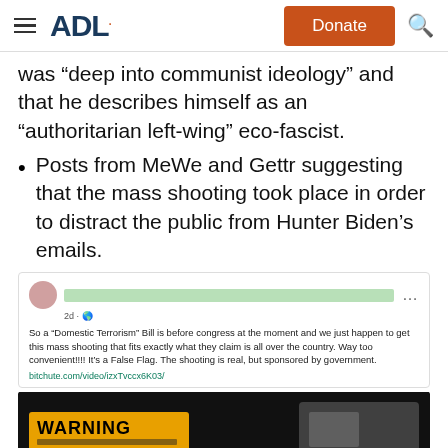ADL | Donate
was “deep into communist ideology” and that he describes himself as an “authoritarian left-wing” eco-fascist.
Posts from MeWe and Gettr suggesting that the mass shooting took place in order to distract the public from Hunter Biden’s emails.
[Figure (screenshot): Screenshot of a social media post. Avatar and name are blurred. Post text reads: 'So a "Domestic Terrorism" Bill is before congress at the moment and we just happen to get this mass shooting that fits exactly what they claim is all over the country. Way too convenient!!!! It's a False Flag. The shooting is real, but sponsored by government.' Link: bitchute.com/video/izxTvccx6K03/]
[Figure (photo): Dark screenshot of a video showing a WARNING sign on what appears to be a vehicle, with text partially visible.]